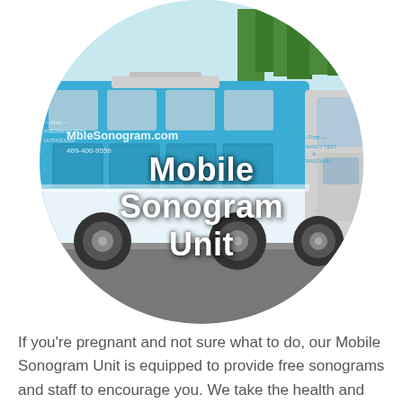[Figure (photo): A circular-cropped photograph of a blue and white Mobile Sonogram Unit vehicle/RV. The vehicle has 'MobileSonogram.com' and '469-400-9559' written on the side, along with 'Free Pregnancy Test & Ultrasound'. The text 'Mobile Sonogram Unit' is overlaid in large bold white text with a dark outline on the lower-center of the image.]
If you're pregnant and not sure what to do, our Mobile Sonogram Unit is equipped to provide free sonograms and staff to encourage you. We take the health and safety of you and your child seriously.